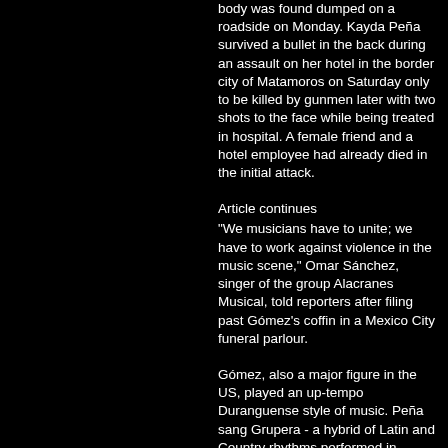body was found dumped on a roadside on Monday. Kayda Peña survived a bullet in the back during an assault on her hotel in the border city of Matamoros on Saturday only to be killed by gunmen later with two shots to the face while being treated in hospital. A female friend and a hotel employee had already died in the initial attack.
Article continues
"We musicians have to unite; we have to work against violence in the music scene," Omar Sánchez, singer of the group Alacranes Musical, told reporters after filing past Gómez's coffin in a Mexico City funeral parlour.
Gómez, also a major figure in the US, played an up-tempo Duranguense style of music. Peña sang Grupera - a hybrid of Latin and Country rhythms performed in cowboy outfits. Both are popular in parts of Mexico caught up in a turf war between rival drug cartels believed to be responsible for